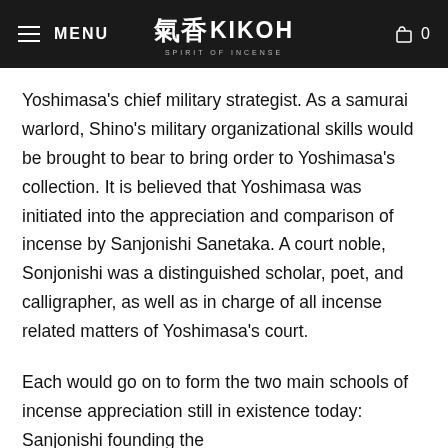MENU  氣香KIKOH  SPIRIT OF INCENSE  0
Yoshimasa's chief military strategist. As a samurai warlord, Shino's military organizational skills would be brought to bear to bring order to Yoshimasa's collection. It is believed that Yoshimasa was initiated into the appreciation and comparison of incense by Sanjonishi Sanetaka. A court noble, Sonjonishi was a distinguished scholar, poet, and calligrapher, as well as in charge of all incense related matters of Yoshimasa's court.
Each would go on to form the two main schools of incense appreciation still in existence today: Sanjonishi founding the